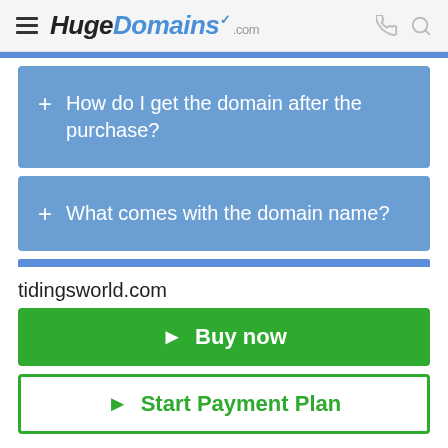HugeDomains.com
+ How do I get the domain after the purchase?
+ What comes with the domain name?
tidingsworld.com
► Buy now
► Start Payment Plan